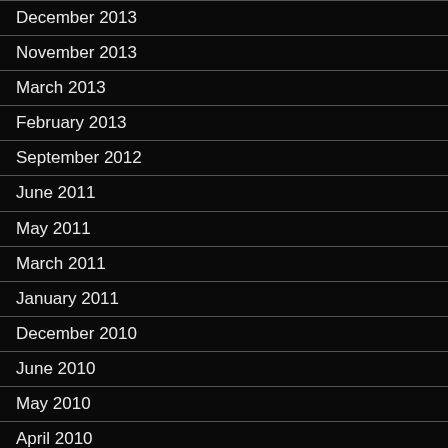December 2013
November 2013
March 2013
February 2013
September 2012
June 2011
May 2011
March 2011
January 2011
December 2010
June 2010
May 2010
April 2010